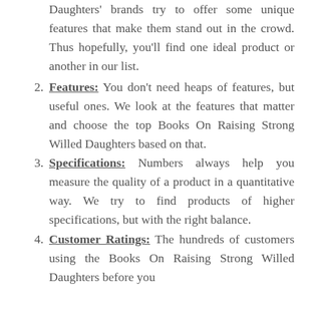Daughters' brands try to offer some unique features that make them stand out in the crowd. Thus hopefully, you'll find one ideal product or another in our list.
2. Features: You don't need heaps of features, but useful ones. We look at the features that matter and choose the top Books On Raising Strong Willed Daughters based on that.
3. Specifications: Numbers always help you measure the quality of a product in a quantitative way. We try to find products of higher specifications, but with the right balance.
4. Customer Ratings: The hundreds of customers using the Books On Raising Strong Willed Daughters before you